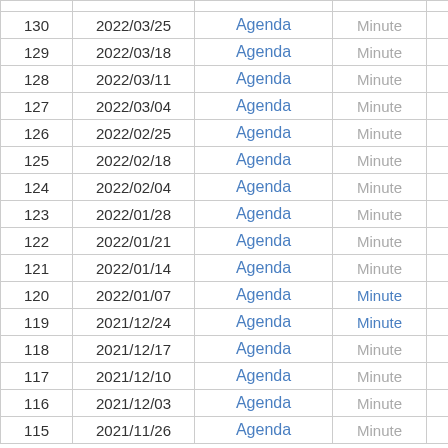| No. | Date | Agenda | Minute |  |
| --- | --- | --- | --- | --- |
| 130 | 2022/03/25 | Agenda | Minute |  |
| 129 | 2022/03/18 | Agenda | Minute |  |
| 128 | 2022/03/11 | Agenda | Minute |  |
| 127 | 2022/03/04 | Agenda | Minute |  |
| 126 | 2022/02/25 | Agenda | Minute |  |
| 125 | 2022/02/18 | Agenda | Minute |  |
| 124 | 2022/02/04 | Agenda | Minute |  |
| 123 | 2022/01/28 | Agenda | Minute |  |
| 122 | 2022/01/21 | Agenda | Minute |  |
| 121 | 2022/01/14 | Agenda | Minute |  |
| 120 | 2022/01/07 | Agenda | Minute |  |
| 119 | 2021/12/24 | Agenda | Minute |  |
| 118 | 2021/12/17 | Agenda | Minute |  |
| 117 | 2021/12/10 | Agenda | Minute |  |
| 116 | 2021/12/03 | Agenda | Minute |  |
| 115 | 2021/11/26 | Agenda | Minute |  |